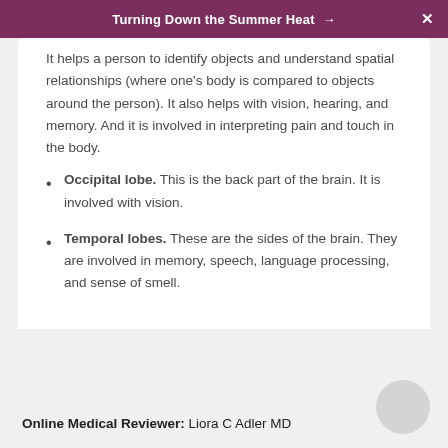Turning Down the Summer Heat → X
It helps a person to identify objects and understand spatial relationships (where one's body is compared to objects around the person). It also helps with vision, hearing, and memory. And it is involved in interpreting pain and touch in the body.
Occipital lobe. This is the back part of the brain. It is involved with vision.
Temporal lobes. These are the sides of the brain. They are involved in memory, speech, language processing, and sense of smell.
Online Medical Reviewer: Liora C Adler MD